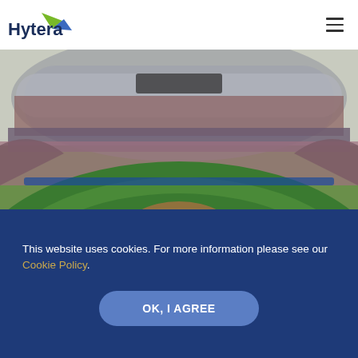ground. Inside the facilities and in the areas around the venue. Security guards or members of staff can be quickly alerted if an incident or accident occurs. If a troublemaker is spotted entering the venue.
Hytera
[Figure (photo): Aerial/field-level view of a large baseball stadium packed with spectators, showing the green field, dirt infield, outfield wall, grandstands full of fans, and a bright sky above.]
This website uses cookies. For more information please see our Cookie Policy.
OK, I AGREE